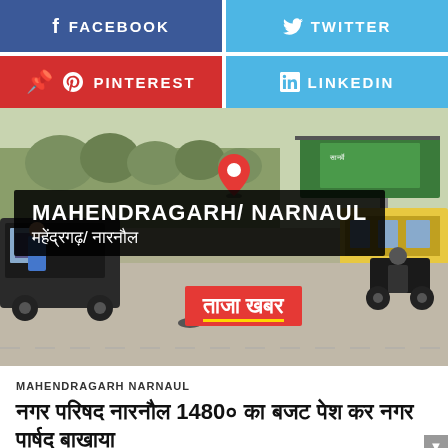[Figure (infographic): Social media share buttons: Facebook (dark blue), Twitter (light blue), Pinterest (red), LinkedIn (light blue)]
[Figure (photo): Street scene in Mahendragarh/Narnaul with auto-rickshaw and motorcycle. Overlaid black box with text MAHENDRAGARH/ NARNAUL in English and Hindi (महेंद्रगढ़/ नारनौल), red location pin icon above, and red tag reading ताजा खबर (Taza Khabar / Breaking News).]
MAHENDRAGARH NARNAUL
नगर परिषद नारनौल 1480० का बजट पेश कर नगर पार्षद बाखाया